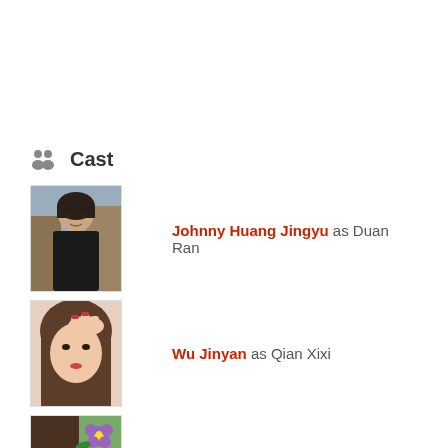Cast
[Figure (photo): Photo of Johnny Huang Jingyu, a young Asian man in a dark jacket outdoors]
Johnny Huang Jingyu as Duan Ran
[Figure (photo): Photo of Wu Jinyan, a young Asian woman with hand near her face]
Wu Jinyan as Qian Xixi
[Figure (photo): Partial photo of a third cast member with a purple flower, cropped]